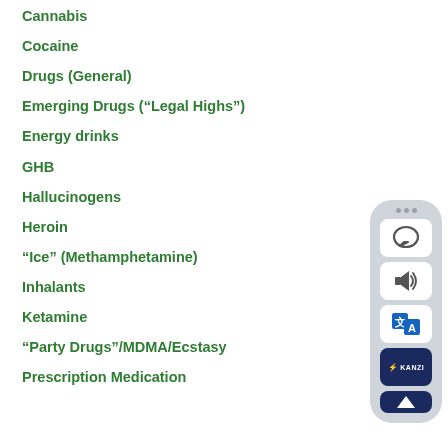Cannabis
Cocaine
Drugs (General)
Emerging Drugs (“Legal Highs”)
Energy drinks
GHB
Hallucinogens
Heroin
“Ice” (Methamphetamine)
Inhalants
Ketamine
“Party Drugs”/MDMA/Ecstasy
Prescription Medication
[Figure (illustration): A mobile widget/overlay UI element showing a chat bubble icon, speaker/audio icon, translate icon, a KANZI button with lightning bolt, and an up-arrow button, rendered as a rounded rectangle device-like widget.]